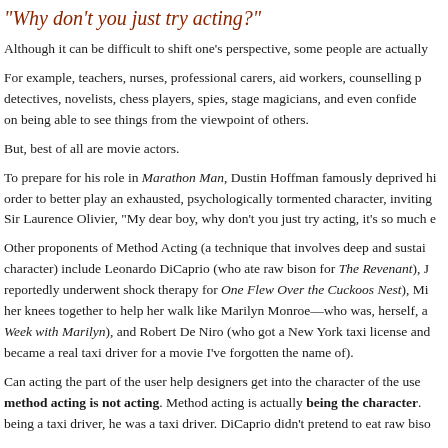"Why don't you just try acting?"
Although it can be difficult to shift one's perspective, some people are actually
For example, teachers, nurses, professional carers, aid workers, counselling p... detectives, novelists, chess players, spies, stage magicians, and even confide... on being able to see things from the viewpoint of others.
But, best of all are movie actors.
To prepare for his role in Marathon Man, Dustin Hoffman famously deprived hi... order to better play an exhausted, psychologically tormented character, inviting... Sir Laurence Olivier, "My dear boy, why don't you just try acting, it's so much e...
Other proponents of Method Acting (a technique that involves deep and sustai... character) include Leonardo DiCaprio (who ate raw bison for The Revenant), J... reportedly underwent shock therapy for One Flew Over the Cuckoos Nest), Mi... her knees together to help her walk like Marilyn Monroe—who was, herself, a... Week with Marilyn), and Robert De Niro (who got a New York taxi license and... became a real taxi driver for a movie I've forgotten the name of).
Can acting the part of the user help designers get into the character of the use... method acting is not acting. Method acting is actually being the character... being a taxi driver, he was a taxi driver. DiCaprio didn't pretend to eat raw biso...